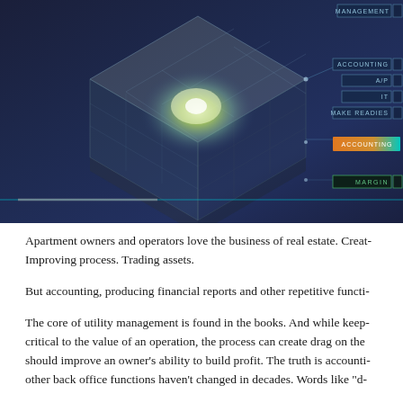[Figure (illustration): Dark blue/navy background with a glowing 3D isometric cube made of smaller cubes in the center-left. On the right side, a UI dashboard panel with labeled rows: MANAGEMENT, ACCOUNTING, A/P, IT, MAKE READIES (each with bracket indicators), an orange-to-teal gradient bar labeled with text, and a green MARGIN row with bracket. A horizontal cyan line runs across the bottom of the image.]
Apartment owners and operators love the business of real estate. Creat- Improving process. Trading assets.
But accounting, producing financial reports and other repetitive functi-
The core of utility management is found in the books. And while keep- critical to the value of an operation, the process can create drag on the should improve an owner’s ability to build profit. The truth is accounti- other back office functions haven’t changed in decades. Words like “d-